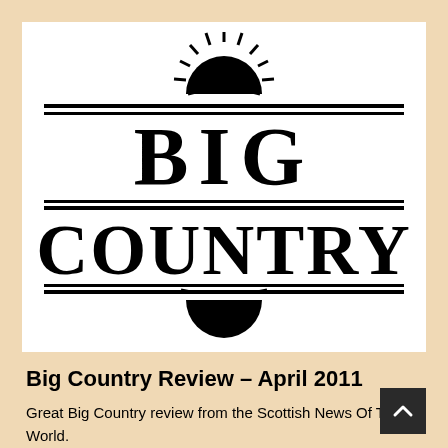[Figure (logo): Big Country band logo — large bold 'BIG' on top with decorative serif text, 'COUNTRY' in large wide serif capitals below, with sun/starburst graphic above and below the text, framed by horizontal double lines, all in black on white background.]
Big Country Review – April 2011
Great Big Country review from the Scottish News Of The World.